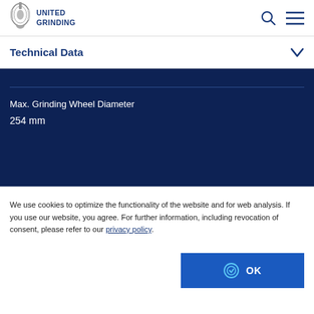UNITED GRINDING
Technical Data
Max. Grinding Wheel Diameter
254 mm
We use cookies to optimize the functionality of the website and for web analysis. If you use our website, you agree. For further information, including revocation of consent, please refer to our privacy policy.
OK